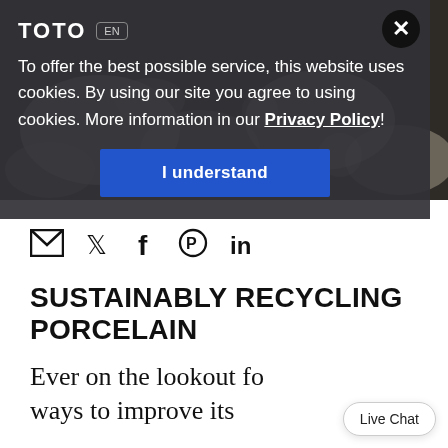[Figure (screenshot): Cookie consent overlay on TOTO website. Dark semi-transparent overlay over a background photo of porcelain pieces. Shows TOTO logo and EN language badge at top left, close X button at top right, cookie notice text with Privacy Policy link, and a blue 'I understand' button.]
To offer the best possible service, this website uses cookies. By using our site you agree to using cookies. More information in our Privacy Policy!
I understand
[Figure (infographic): Social share icons row: email/envelope, Twitter bird, Facebook f, Pinterest circle P, LinkedIn in]
SUSTAINABLY RECYCLING PORCELAIN
Ever on the lookout for ways to improve its